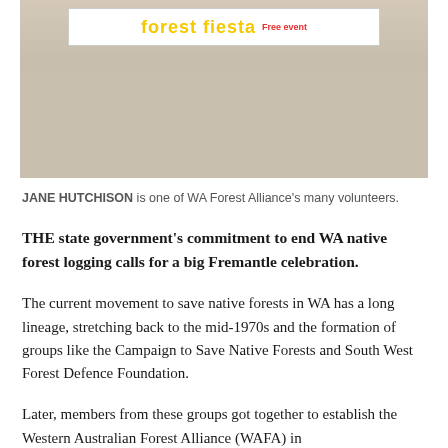[Figure (photo): Group of people holding a banner that reads 'forest fiesta Free event' at an outdoor event, related to WA Forest Alliance.]
JANE HUTCHISON is one of WA Forest Alliance's many volunteers.
THE state government's commitment to end WA native forest logging calls for a big Fremantle celebration.
The current movement to save native forests in WA has a long lineage, stretching back to the mid-1970s and the formation of groups like the Campaign to Save Native Forests and South West Forest Defence Foundation.
Later, members from these groups got together to establish the Western Australian Forest Alliance (WAFA) in